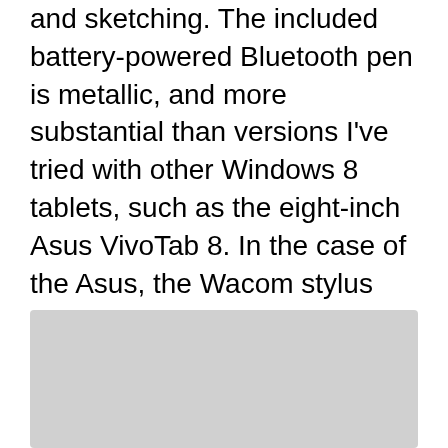and sketching. The included battery-powered Bluetooth pen is metallic, and more substantial than versions I've tried with other Windows 8 tablets, such as the eight-inch Asus VivoTab 8. In the case of the Asus, the Wacom stylus was made of thin plastic, but at least it slid right into an internal slot in the tablet body. For the Surface Pro 3, you'll need to either keep in your pocket or bag, or perhaps slide it behind your ear, unless you have a sold-separately type cover and its awkward stick-on stylus-holding loop.
[Figure (photo): Gray placeholder image area at bottom of page]